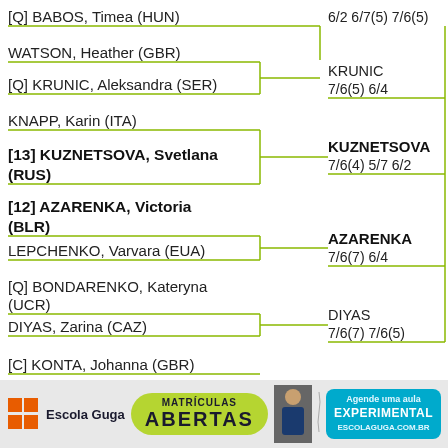[Figure (other): Tennis tournament bracket showing match results. Players listed: [Q] BABOS Timea (HUN) won 6/2 6/7(5) 7/6(5); WATSON Heather (GBR) vs [Q] KRUNIC Aleksandra (SER), KRUNIC won 7/6(5) 6/4; KNAPP Karin (ITA) vs [13] KUZNETSOVA Svetlana (RUS), KUZNETSOVA won 7/6(4) 5/7 6/2; [12] AZARENKA Victoria (BLR) vs LEPCHENKO Varvara (EUA), AZARENKA won 7/6(7) 6/4; [Q] BONDARENKO Kateryna (UCR) vs DIYAS Zarina (CAZ), DIYAS won 7/6(7) 7/6(5); [C] KONTA Johanna (GBR) shown at bottom.]
[Figure (infographic): Advertisement banner for Escola Guga with logo, MATRICULAS ABERTAS text, photo of person, and Agende uma aula EXPERIMENTAL ESCOLAGUGA.COM.BR text on blue background.]